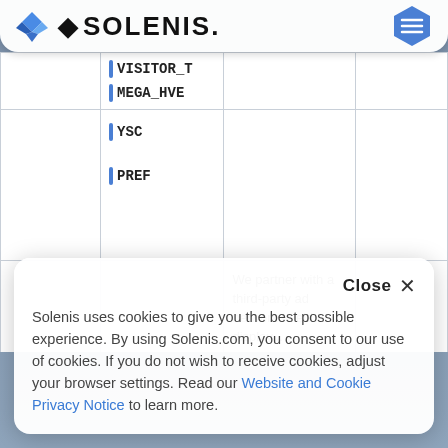[Figure (logo): Solenis logo with diamond/shield icon and text 'SOLENIS.' in bold black, plus blue hexagon menu icon on the right]
|  | VISITOR_T
MEGA_HVE |  |  |
|  | YSC
PREF |  |  |
|  |  | We partner with a third-party ad network to either display... |  |
Close ×
Solenis uses cookies to give you the best possible experience. By using Solenis.com, you consent to our use of cookies. If you do not wish to receive cookies, adjust your browser settings. Read our Website and Cookie Privacy Notice to learn more.